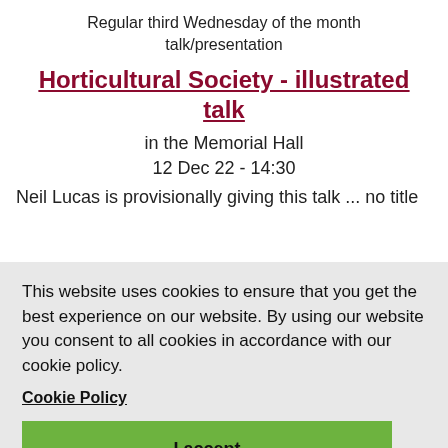Regular third Wednesday of the month talk/presentation
Horticultural Society - illustrated talk
in the Memorial Hall
12 Dec 22 - 14:30
Neil Lucas is provisionally giving this talk ... no title
This website uses cookies to ensure that you get the best experience on our website. By using our website you consent to all cookies in accordance with our cookie policy.
Cookie Policy
I accept
in the Memorial Hall